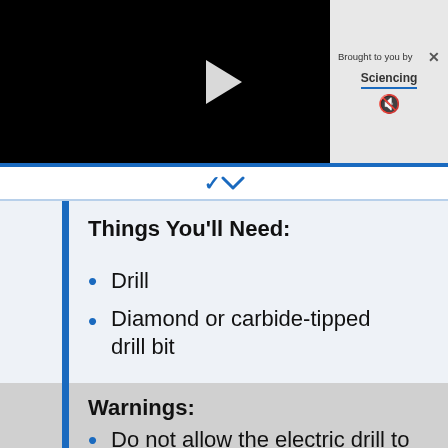[Figure (screenshot): Black video player with play button in center]
Brought to you by Sciencing
Things You'll Need:
Drill
Diamond or carbide-tipped drill bit
Small plastic bowl
Permanent marker
Warnings:
Do not allow the electric drill to